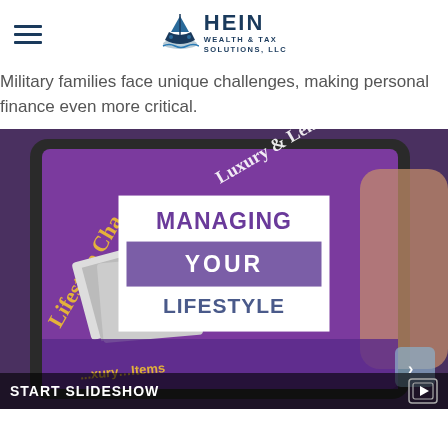HEIN WEALTH & TAX SOLUTIONS, LLC
Military families face unique challenges, making personal finance even more critical.
[Figure (photo): Photo of a person holding a tablet displaying a purple Luxury & Leisure lifestyle magazine app, with a white overlay card showing the text 'MANAGING YOUR LIFESTYLE' and a bottom bar reading 'START SLIDESHOW']